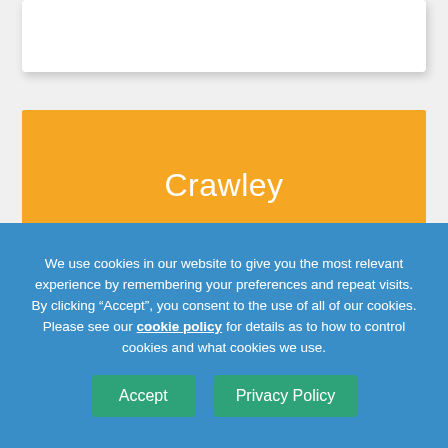[Figure (other): White card element at the top of the page, partially visible]
Crawley
East Grinstead
[Figure (other): Purple/violet colored block partially visible at the bottom of content area]
We use cookies in our website to give you the most relevant experience by remembering your preferences and repeat visits. By clicking “Accept”, you consent to the use of all of our cookies. Please see our cookie policy for details as to how to control cookies and what cookies we use.
Accept
Privacy Policy